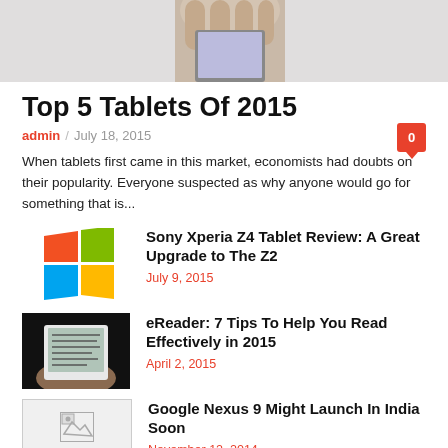[Figure (photo): Top banner image showing a hand holding a tablet, partially visible]
Top 5 Tablets Of 2015
admin / July 18, 2015 [comment badge: 0]
When tablets first came in this market, economists had doubts on their popularity. Everyone suspected as why anyone would go for something that is...
[Figure (photo): Windows logo (colorful flag icon)]
Sony Xperia Z4 Tablet Review: A Great Upgrade to The Z2
July 9, 2015
[Figure (photo): Person holding an eReader device]
eReader: 7 Tips To Help You Read Effectively in 2015
April 2, 2015
[Figure (photo): Broken/placeholder image icon]
Google Nexus 9 Might Launch In India Soon
November 12, 2014